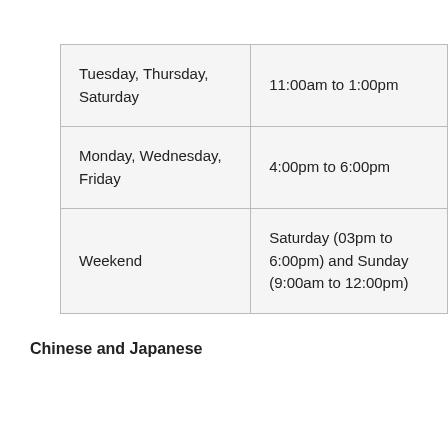| Tuesday, Thursday, Saturday | 11:00am to 1:00pm |
| Monday, Wednesday, Friday | 4:00pm to 6:00pm |
| Weekend | Saturday (03pm to 6:00pm) and Sunday (9:00am to 12:00pm) |
Chinese and Japanese
| Monday, Wednesday, | 04:00pm to 6:00pm |